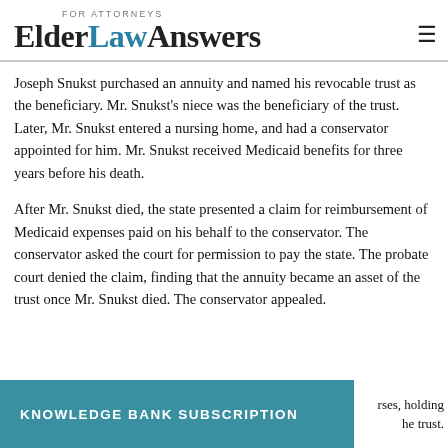FOR ATTORNEYS ElderLawAnswers
Joseph Snukst purchased an annuity and named his revocable trust as the beneficiary. Mr. Snukst's niece was the beneficiary of the trust. Later, Mr. Snukst entered a nursing home, and had a conservator appointed for him. Mr. Snukst received Medicaid benefits for three years before his death.
After Mr. Snukst died, the state presented a claim for reimbursement of Medicaid expenses paid on his behalf to the conservator. The conservator asked the court for permission to pay the state. The probate court denied the claim, finding that the annuity became an asset of the trust once Mr. Snukst died. The conservator appealed.
rses, holding he trust.
KNOWLEDGE BANK SUBSCRIPTION